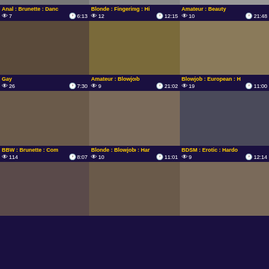[Figure (screenshot): Video thumbnail grid showing adult video listings with tags, view counts, and durations]
Anal : Brunette : Danc | 👁 7 | 6:13 | Blonde : Fingering : Hi | 👁 12 | 12:15 | Amateur : Beauty | 👁 10 | 21:48
Gay | 👁 26 | 7:30 | Amateur : Blowjob | 👁 9 | 21:02 | Blowjob : European : H | 👁 19 | 11:00
BBW : Brunette : Com | 👁 114 | 8:07 | Blonde : Blowjob : Har | 👁 10 | 11:01 | BDSM : Erotic : Hardo | 👁 9 | 12:14